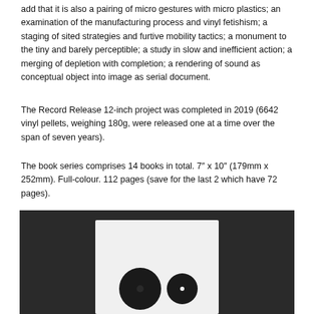add that it is also a pairing of micro gestures with micro plastics; an examination of the manufacturing process and vinyl fetishism; a staging of sited strategies and furtive mobility tactics; a monument to the tiny and barely perceptible; a study in slow and inefficient action; a merging of depletion with completion; a rendering of sound as conceptual object into image as serial document.
The Record Release 12-inch project was completed in 2019 (6642 vinyl pellets, weighing 180g, were released one at a time over the span of seven years).
The book series comprises 14 books in total. 7″ x 10″ (179mm x 252mm). Full-colour. 112 pages (save for the last 2 which have 72 pages).
[Figure (photo): A photograph with dark background showing a white square/rectangular object with two black circular discs on it, resembling a vinyl record sleeve or art object.]